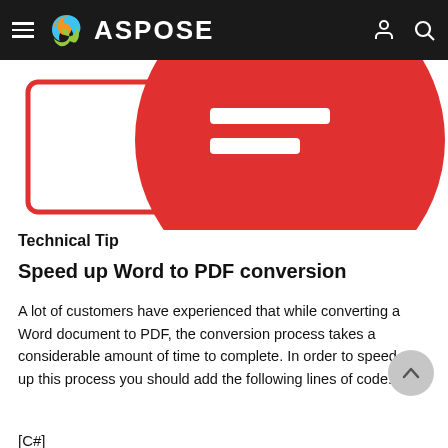ASPOSE
[Figure (illustration): Partial view of a red circle/speech-bubble graphic with white horizontal lines, and a white document shape, on white background — decorative illustration]
Technical Tip
Speed up Word to PDF conversion
A lot of customers have experienced that while converting a Word document to PDF, the conversion process takes a considerable amount of time to complete. In order to speed up this process you should add the following lines of code:
[C#]